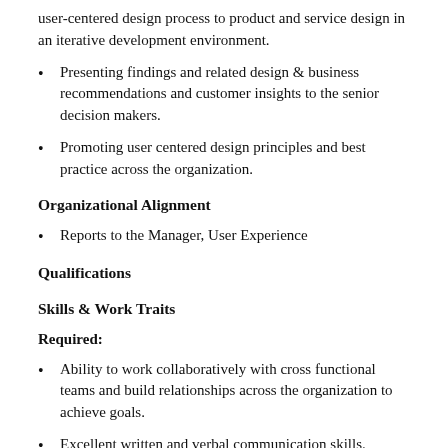user-centered design process to product and service design in an iterative development environment.
Presenting findings and related design & business recommendations and customer insights to the senior decision makers.
Promoting user centered design principles and best practice across the organization.
Organizational Alignment
Reports to the Manager, User Experience
Qualifications
Skills & Work Traits
Required:
Ability to work collaboratively with cross functional teams and build relationships across the organization to achieve goals.
Excellent written and verbal communication skills.